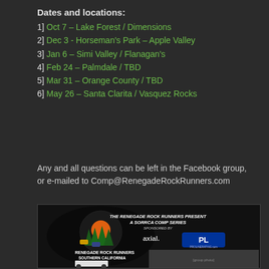Dates and locations:
1] Oct 7 – Lake Forest / Dimensions
2] Dec 3 - Horseman's Park – Apple Valley
3] Jan 6 – Simi Valley / Flanagan's
4] Feb 24 – Palmdale / TBD
5] Mar 31 – Orange County / TBD
6] May 26 – Santa Clarita / Vasquez Rocks
Any and all questions can be left in the Facebook group, or e-mailed to Comp@RenegadeRockRunners.com
[Figure (photo): Renegade Rock Runners Southern California event poster sponsored by Axial and Pro-Line Racing, showing RC rock crawlers and group photo]